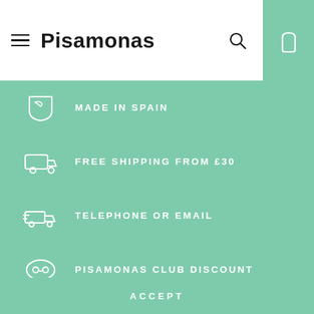[Figure (screenshot): Pisamonas website header with hamburger menu, logo, search icon, and shopping bag icon on teal background]
MADE IN SPAIN
FREE SHIPPING FROM £30
TELEPHONE OR EMAIL
PISAMONAS CLUB DISCOUNT
We use our own and third-party cookies to measure performance and offer a personalized shopping and advertising experience. You can accept all cookies by pressing the "Accept" button and configure or reject their use by clicking here.
ACCEPT